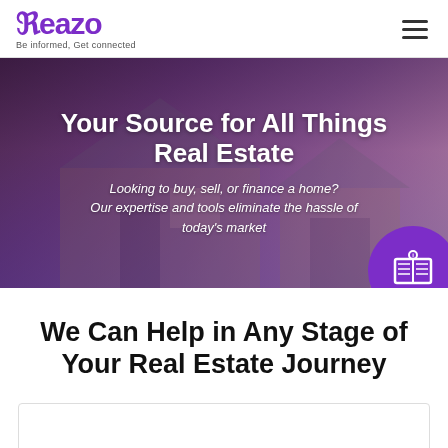[Figure (logo): Reazo logo with purple stylized R and text 'Be informed, Get connected']
[Figure (photo): Hero banner with suburban house photo with purple overlay, white bold text headline and subtitle, and a purple circle icon with book symbol on right side]
We Can Help in Any Stage of Your Real Estate Journey
[Figure (other): Empty white card area at bottom of page]